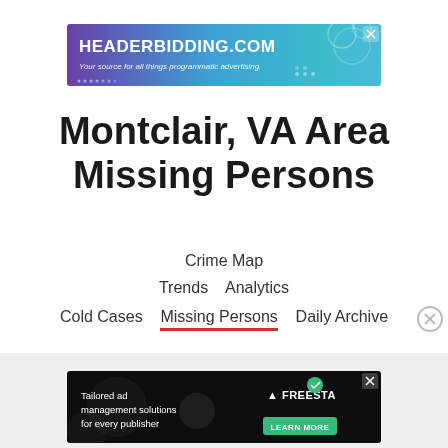[Figure (screenshot): HEADERBIDDING.COM advertisement banner - 'Your source for all things programmatic advertising.' with purple-teal gradient background]
Montclair, VA Area Missing Persons
Crime Map
Trends   Analytics
Cold Cases   Missing Persons   Daily Archive
[Figure (screenshot): Tailored ad management solutions for every publisher - FREESTA advertisement banner with dark background]